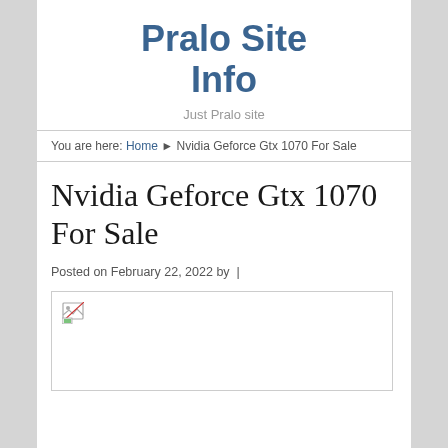Pralo Site Info
Just Pralo site
You are here: Home ▶ Nvidia Geforce Gtx 1070 For Sale
Nvidia Geforce Gtx 1070 For Sale
Posted on February 22, 2022 by  |
[Figure (photo): Broken image placeholder with small broken image icon in top-left corner, bordered box]